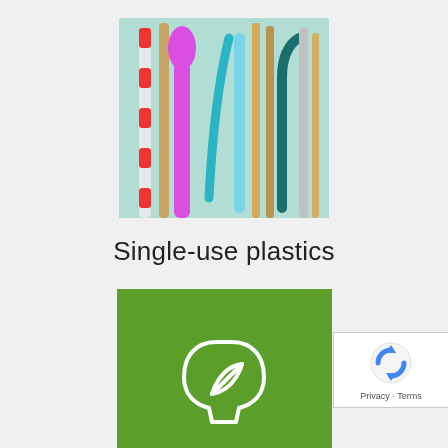[Figure (photo): Photo of various single-use and reusable straws and utensils (colorful straws, metal straw, silicone utensils) against a light teal background]
Single-use plastics
[Figure (illustration): Green square icon with a white outline of a human head profile containing a leaf, representing environmental knowledge or eco-thinking]
Knowledge Base
Highlights
[Figure (photo): Partial photo visible at the bottom, dark tones, appears to show industrial or natural materials]
[Figure (other): reCAPTCHA badge showing Google reCAPTCHA logo with Privacy and Terms links]